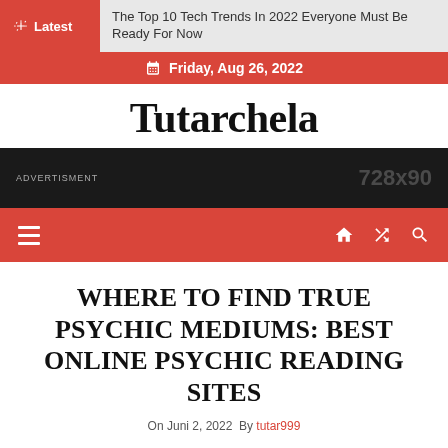Latest | The Top 10 Tech Trends In 2022 Everyone Must Be Ready For Now
Friday, Aug 26, 2022
Tutarchela
[Figure (other): Advertisement banner 728x90]
Navigation bar with hamburger menu, home, shuffle, and search icons
WHERE TO FIND TRUE PSYCHIC MEDIUMS: BEST ONLINE PSYCHIC READING SITES
On Juni 2, 2022  By tutar999